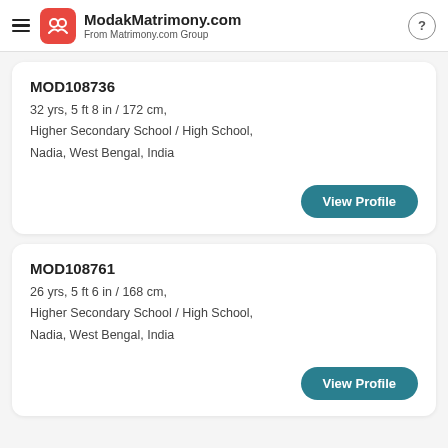ModakMatrimony.com
From Matrimony.com Group
MOD108736
32 yrs, 5 ft 8 in / 172 cm,
Higher Secondary School / High School,
Nadia, West Bengal, India
View Profile
MOD108761
26 yrs, 5 ft 6 in / 168 cm,
Higher Secondary School / High School,
Nadia, West Bengal, India
View Profile